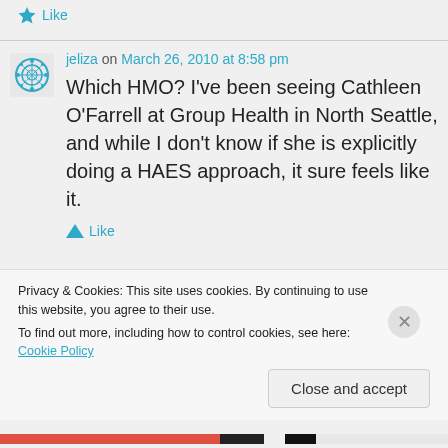Like
jeliza on March 26, 2010 at 8:58 pm
Which HMO? I've been seeing Cathleen O'Farrell at Group Health in North Seattle, and while I don't know if she is explicitly doing a HAES approach, it sure feels like it.
Like
Privacy & Cookies: This site uses cookies. By continuing to use this website, you agree to their use.
To find out more, including how to control cookies, see here: Cookie Policy
Close and accept